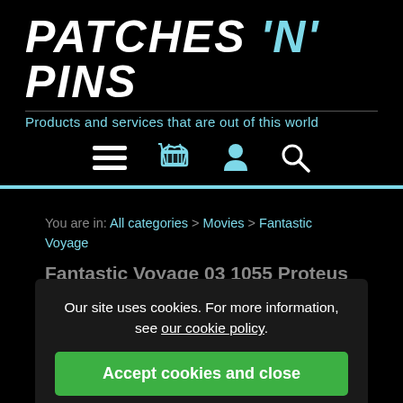PATCHES 'N' PINS
Products and services that are out of this world
[Figure (infographic): Navigation icons: hamburger menu (white), shopping basket (cyan), user profile (cyan), search magnifier (white)]
You are in: All categories > Movies > Fantastic Voyage
Fantastic Voyage 03 1055 Proteus patch
£4.00
Our site uses cookies. For more information, see our cookie policy.
Accept cookies and close
Reject cookies
Manage settings